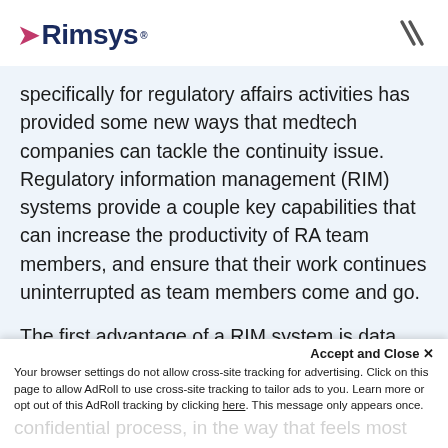Rimsys
specifically for regulatory affairs activities has provided some new ways that medtech companies can tackle the continuity issue. Regulatory information management (RIM) systems provide a couple key capabilities that can increase the productivity of RA team members, and ensure that their work continues uninterrupted as team members come and go.
The first advantage of a RIM system is data association and integration. Rather than simply noting information, RIM systems can actively integrate with information sources, and automatically update as information
Accept and Close ✕
Your browser settings do not allow cross-site tracking for advertising. Click on this page to allow AdRoll to use cross-site tracking to tailor ads to you. Learn more or opt out of this AdRoll tracking by clicking here. This message only appears once.
confidential process, in the way that feels most